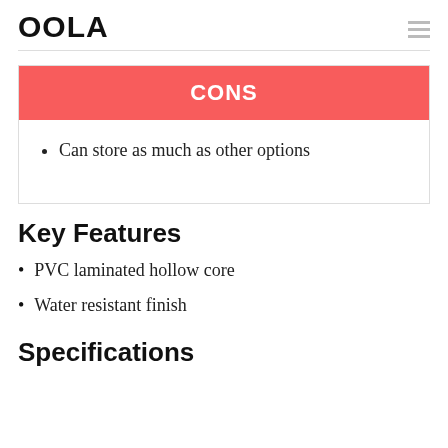OOLA
CONS
Can store as much as other options
Key Features
PVC laminated hollow core
Water resistant finish
Specifications